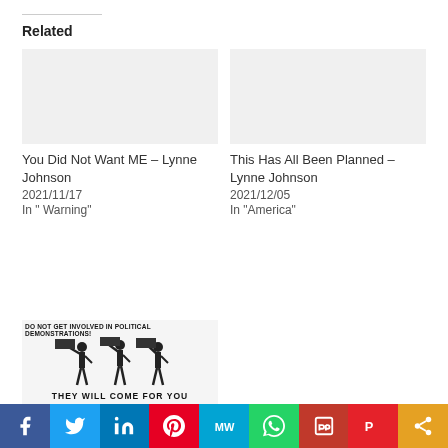Related
You Did Not Want ME – Lynne Johnson
2021/11/17
In " Warning"
This Has All Been Planned – Lynne Johnson
2021/12/05
In "America"
[Figure (illustration): Protesters holding signs above their heads with text 'DO NOT GET INVOLVED IN POLITICAL DEMONSTRATIONS!' at top and 'THEY WILL COME FOR YOU' at the bottom in bold.]